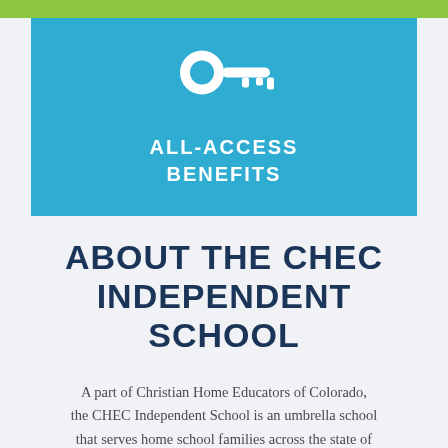[Figure (illustration): Blue box with white key icon and text 'ALL-ACCESS BENEFITS' on a blue background, with a green bar at the top]
ABOUT THE CHEC INDEPENDENT SCHOOL
A part of Christian Home Educators of Colorado, the CHEC Independent School is an umbrella school that serves home school families across the state of